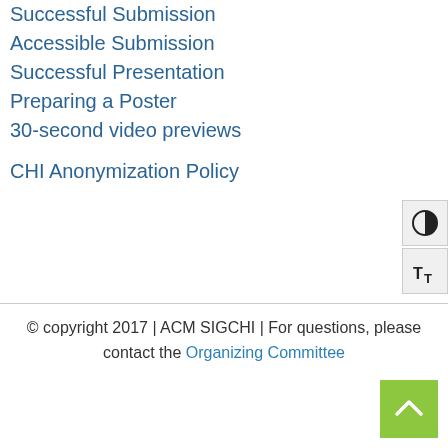Successful Submission
Accessible Submission
Successful Presentation
Preparing a Poster
30-second video previews
CHI Anonymization Policy
© copyright 2017 | ACM SIGCHI | For questions, please contact the Organizing Committee